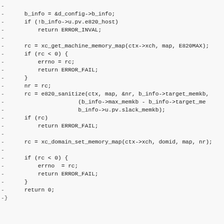Code diff showing removal of memory map setup code in C, including b_info initialization, xc_get_machine_memory_map call, e820_sanitize call, xc_domain_set_memory_map call, and return 0.